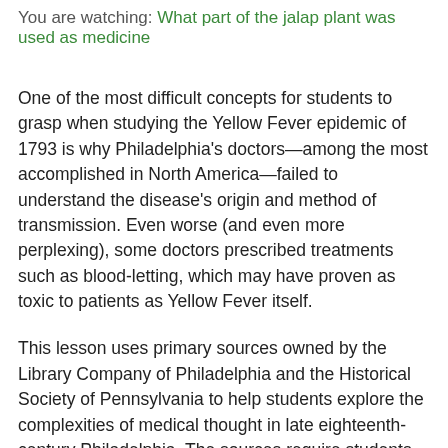You are watching: What part of the jalap plant was used as medicine
One of the most difficult concepts for students to grasp when studying the Yellow Fever epidemic of 1793 is why Philadelphia's doctors—among the most accomplished in North America—failed to understand the disease's origin and method of transmission. Even worse (and even more perplexing), some doctors prescribed treatments such as blood-letting, which may have proven as toxic to patients as Yellow Fever itself.
This lesson uses primary sources owned by the Library Company of Philadelphia and the Historical Society of Pennsylvania to help students explore the complexities of medical thought in late eighteenth-century Philadelphia. The sources require students to use critical thinking skills to analyze why...